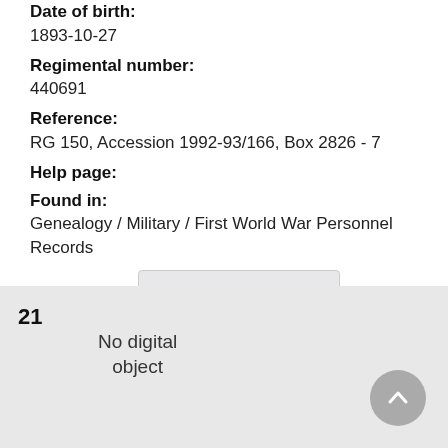Date of birth:
1893-10-27
Regimental number:
440691
Reference:
RG 150, Accession 1992-93/166, Box 2826 - 7
Help page:
Found in:
Genealogy / Military / First World War Personnel Records
[Figure (other): Button: Add to My Research with folder-plus icon]
21
No digital object